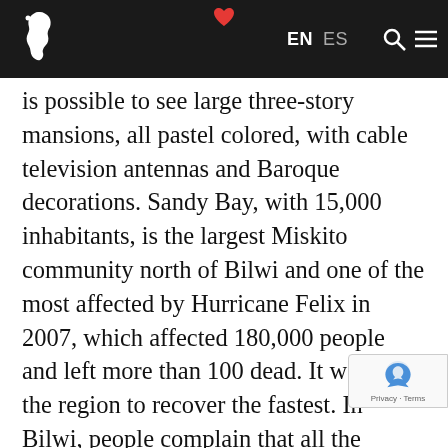EN ES [search] [menu]
is possible to see large three-story mansions, all pastel colored, with cable television antennas and Baroque decorations. Sandy Bay, with 15,000 inhabitants, is the largest Miskito community north of Bilwi and one of the most affected by Hurricane Felix in 2007, which affected 180,000 people and left more than 100 dead. It was also the region to recover the fastest. In Bilwi, people complain that all the cement that arrives in the region is immediately sent here. Construction is booming. Dozens of people arrive from other communities every day, and even from Honduras, to work in construction. A postcard of Sandy Bay could depict a luxurious mansion, together with a